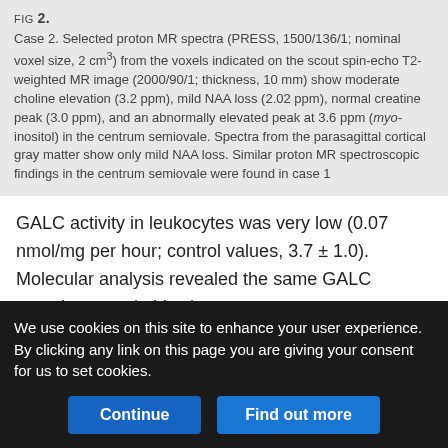FIG 2. Case 2. Selected proton MR spectra (PRESS, 1500/136/1; nominal voxel size, 2 cm³) from the voxels indicated on the scout spin-echo T2-weighted MR image (2000/90/1; thickness, 10 mm) show moderate choline elevation (3.2 ppm), mild NAA loss (2.02 ppm), normal creatine peak (3.0 ppm), and an abnormally elevated peak at 3.6 ppm (myo-inositol) in the centrum semiovale. Spectra from the parasagittal cortical gray matter show only mild NAA loss. Similar proton MR spectroscopic findings in the centrum semiovale were found in case 1
GALC activity in leukocytes was very low (0.07 nmol/mg per hour; control values, 3.7 ± 1.0). Molecular analysis revealed the same GALC mutation seen in his sister.
Case 3
A 29-year-old woman had insidious onset of disease at age 23,
We use cookies on this site to enhance your user experience. By clicking any link on this page you are giving your consent for us to set cookies.